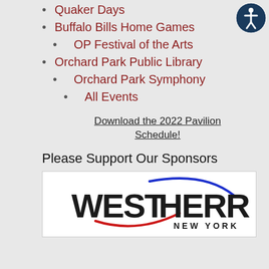Quaker Days
Buffalo Bills Home Games
OP Festival of the Arts
Orchard Park Public Library
Orchard Park Symphony
All Events
Download the 2022 Pavilion Schedule!
Please Support Our Sponsors
[Figure (logo): West Herr New York automotive dealership logo with blue and red swoosh design]